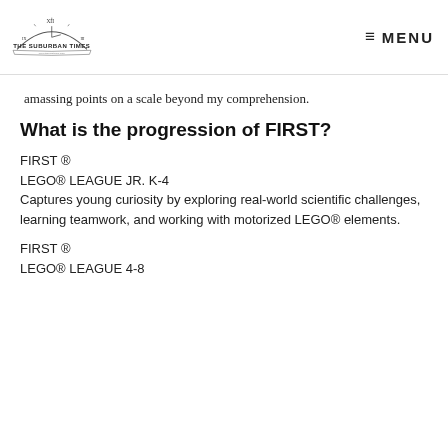THE SUBURBAN TIMES — MENU
amassing points on a scale beyond my comprehension.
What is the progression of FIRST?
FIRST ®
LEGO® LEAGUE JR. K-4
Captures young curiosity by exploring real-world scientific challenges, learning teamwork, and working with motorized LEGO® elements.
FIRST ®
LEGO® LEAGUE 4-8